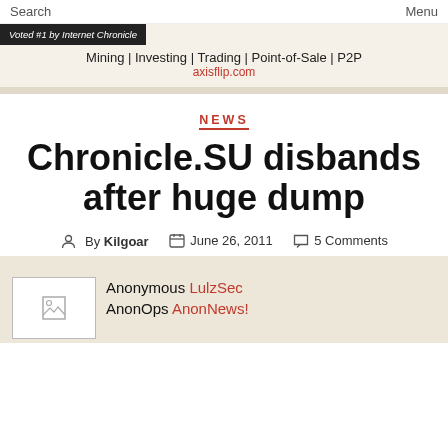Search    Menu
[Figure (other): Advertisement banner: 'Voted #1 by Internet Chronicle' badge, tagline 'Mining | Investing | Trading | Point-of-Sale | P2P', URL 'axisflip.com']
NEWS
Chronicle.SU disbands after huge dump
By Kilgoar   June 26, 2011   5 Comments
Anonymous LulzSec AnonOps AnonNews!